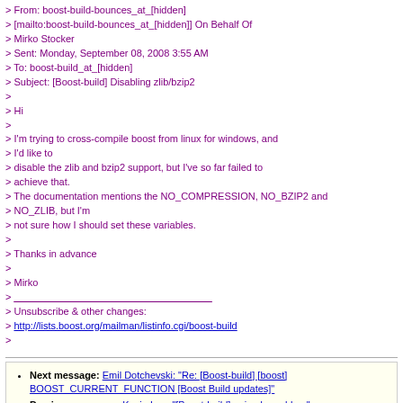> From: boost-build-bounces_at_[hidden]
> [mailto:boost-build-bounces_at_[hidden]] On Behalf Of
> Mirko Stocker
> Sent: Monday, September 08, 2008 3:55 AM
> To: boost-build_at_[hidden]
> Subject: [Boost-build] Disabling zlib/bzip2
>
> Hi
>
> I'm trying to cross-compile boost from linux for windows, and
> I'd like to
> disable the zlib and bzip2 support, but I've so far failed to
> achieve that.
> The documentation mentions the NO_COMPRESSION, NO_BZIP2 and
> NO_ZLIB, but I'm
> not sure how I should set these variables.
>
> Thanks in advance
>
> Mirko
> ____________________________________
> Unsubscribe & other changes:
> http://lists.boost.org/mailman/listinfo.cgi/boost-build
>
Next message: Emil Dotchevski: "Re: [Boost-build] [boost] BOOST_CURRENT_FUNCTION [Boost Build updates]"
Previous message: Kevin Lee: "[Boost-build] unicode problem"
In reply to: Mirko Stocker: "[Boost-build] Disabling zlib/bzip2"
Next in thread: Mirko Stocker: "Re: [Boost-build] Disabling zlib/bzip2"